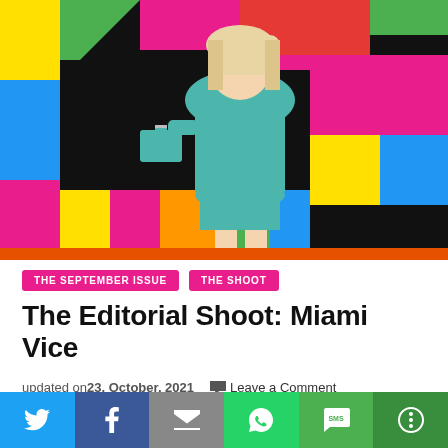[Figure (photo): Woman in teal/mint green leather outfit with matching handbag and black boots, posing against a colorful geometric mural with bold blocks of pink, yellow, green, red, blue, and black]
THE SEPTEMBER ISSUE   THE SHOOT
The Editorial Shoot: Miami Vice
updated on 23, October, 2021   Leave a Comment
Share buttons: Twitter, Facebook, Email, WhatsApp, SMS, More